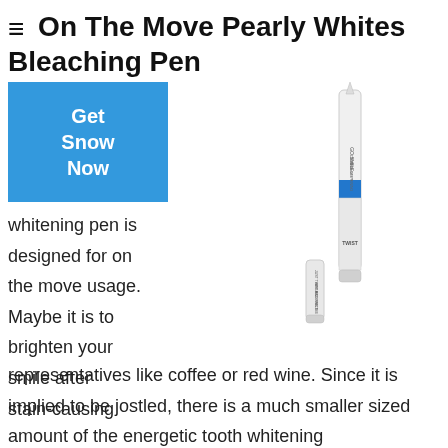≡ On The Move Pearly Whites Bleaching Pen
[Figure (other): GoSmile On The Go teeth whitening pen product image showing a slender white pen with blue band and cap]
whitening pen is designed for on the move usage. Maybe it is to brighten your smile after stain-causing
representatives like coffee or red wine. Since it is implied to be jostled, there is a much smaller sized amount of the energetic tooth whitening